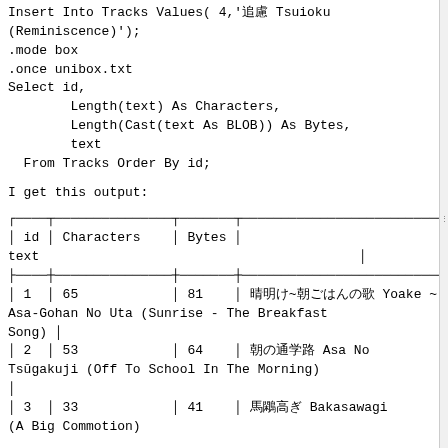Insert Into Tracks Values( 4,'追憶 Tsuioku (Reminiscence)');
.mode box
.once unibox.txt
Select id,
        Length(text) As Characters,
        Length(Cast(text As BLOB)) As Bytes,
        text
  From Tracks Order By id;
I get this output:
| id | Characters | Bytes | text |
| --- | --- | --- | --- |
| 1 | 65 | 81 | 夜明け~朝ごはんの歌 Yoake ~ Asa-Gohan No Uta (Sunrise - The Breakfast Song) |
| 2 | 53 | 64 | 朝の通学路 Asa No Tsūgakuji (Off To School In The Morning) |
| 3 | 33 | 41 | 馬鹿騒ぎ Bakasawagi (A Big Commotion) |